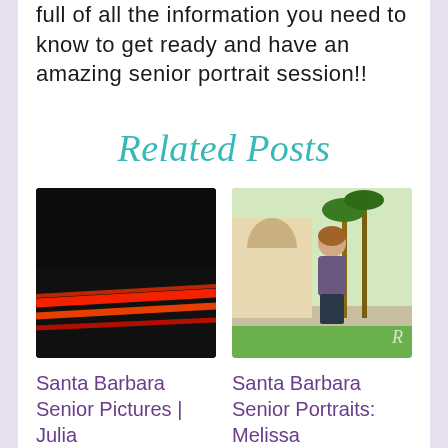full of all the information you need to know to get ready and have an amazing senior portrait session!!
Related Posts
[Figure (photo): Dark photo with red light streaks, motion blur effect]
[Figure (photo): Young woman standing outdoors in front of palm trees and arched building, smiling]
Santa Barbara Senior Pictures | Julia
Santa Barbara Senior Portraits: Melissa